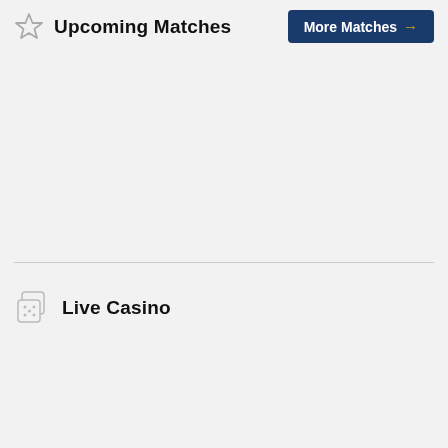Upcoming Matches
More Matches →
Live Casino